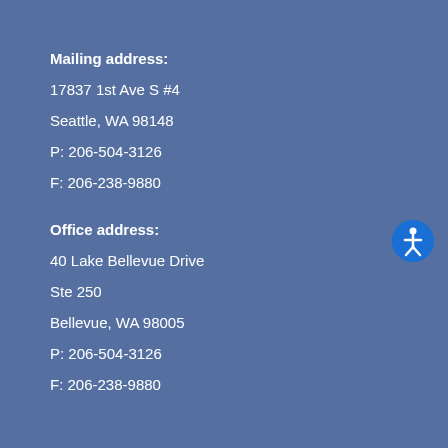Mailing address:
17837 1st Ave S #4
Seattle, WA 98148
P: 206-504-3126
F: 206-238-9880
Office address:
40 Lake Bellevue Drive
Ste 250
Bellevue, WA 98005
P: 206-504-3126
F: 206-238-9880